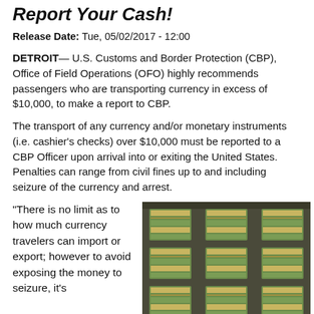Report Your Cash!
Release Date: Tue, 05/02/2017 - 12:00
DETROIT— U.S. Customs and Border Protection (CBP), Office of Field Operations (OFO) highly recommends passengers who are transporting currency in excess of $10,000, to make a report to CBP.
The transport of any currency and/or monetary instruments (i.e. cashier's checks) over $10,000 must be reported to a CBP Officer upon arrival into or exiting the United States. Penalties can range from civil fines up to and including seizure of the currency and arrest.
“There is no limit as to how much currency travelers can import or export; however to avoid exposing the money to seizure, it’s
[Figure (photo): Stacks of bundled US dollar bills arranged on a surface, photographed from above.]